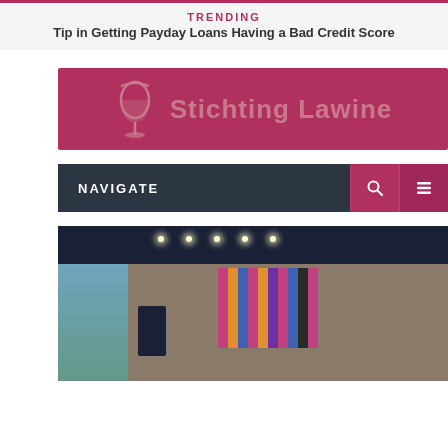TRENDING
Tip in Getting Payday Loans Having a Bad Credit Score
[Figure (logo): Stichting Lawine logo — dark red/crimson banner with a wine glass icon and the text 'Stichting Lawine' in large bold letters]
NAVIGATE
[Figure (photo): Interior room photo showing a dark ceiling with recessed spotlights, exposed concrete/wood-textured walls, a blue lamp, and a framed artwork/display on the wall featuring vertical striped colorful panels]